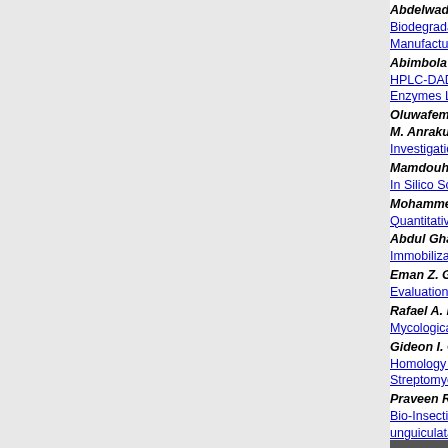Abdelwadood M. Mes... — Biodegradation of... Manufacturing Pla...
Abimbola O. Adekann... — HPLC-DAD Finge... Enzymes Linked t...
Oluwafemi A. Ojo, Ba... M. Anraku de Campos... — Investigation of sc...
Mamdouh Y. Elgendy,... — In Silico Screening...
Mohammed Z. Al-Kha... — Quantitative Analy...
Abdul Ghani, Nuzhat A... — Immobilization of l...
Eman Z. Gomaa — Evaluation of the A...
Rafael A. Espiritu, Ma... — Mycological Quali...
Gideon I. Ogu, Inamu... — Homology Modeli... Streptomyces sp....
Praveen Reddy P and... — Bio-Insecticidal Po... unguiculata (L)
Ito E. Edwin and Ighe... — Phytochemical Sc... (Hordeum vulgare...
Sofia Hamli, Kenza Ka...